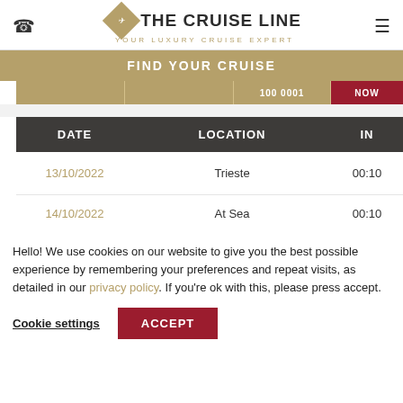[Figure (logo): The Cruise Line logo with diamond emblem and tagline 'YOUR LUXURY CRUISE EXPERT']
FIND YOUR CRUISE
| DATE | LOCATION | IN |
| --- | --- | --- |
| 13/10/2022 | Trieste | 00:10 |
| 14/10/2022 | At Sea | 00:10 |
Hello! We use cookies on our website to give you the best possible experience by remembering your preferences and repeat visits, as detailed in our privacy policy. If you're ok with this, please press accept.
Cookie settings
ACCEPT